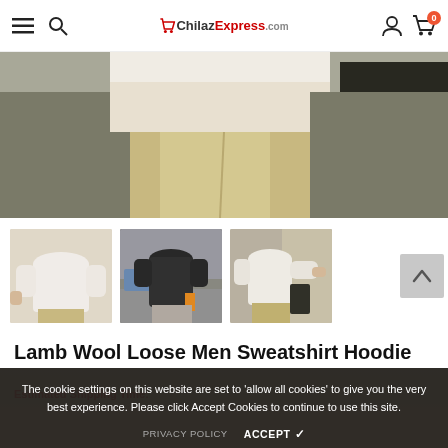ChilazExpress.com navigation bar with hamburger menu, search, logo, user account, and cart (0)
[Figure (photo): Main product hero image showing lower half of person wearing lamb wool sweatshirt hoodie and khaki pants, holding a dark bag, outdoors with dry brush background]
[Figure (photo): Three product thumbnail images: (1) white sweatshirt front view, (2) dark/black sweatshirt outdoor full body, (3) white sweatshirt back/side view outdoors]
Lamb Wool Loose Men Sweatshirt Hoodie
The cookie settings on this website are set to 'allow all cookies' to give you the very best experience. Please click Accept Cookies to continue to use this site.
PRIVACY POLICY    ACCEPT ✓